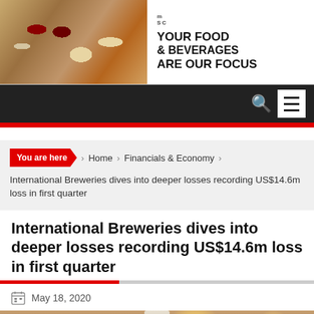[Figure (photo): Advertisement banner for food and beverages company, showing food items on left and tagline 'YOUR FOOD & BEVERAGES ARE OUR FOCUS' on right with company logo MSC]
Navigation bar with search icon and menu icon
You are here  Home  Financials & Economy  International Breweries dives into deeper losses recording US$14.6m loss in first quarter
International Breweries dives into deeper losses recording US$14.6m loss in first quarter
May 18, 2020
[Figure (photo): Photo of a Trophy beer bottle in a bar/restaurant setting with bokeh lights in the background]